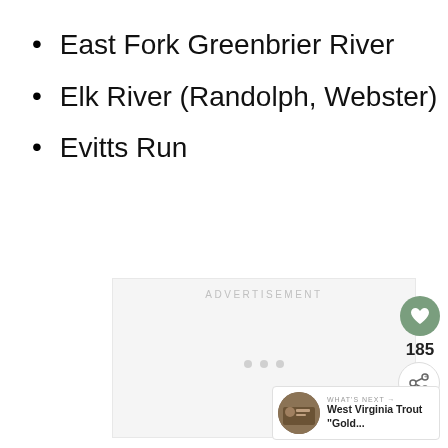East Fork Greenbrier River
Elk River (Randolph, Webster)
Evitts Run
[Figure (other): Advertisement placeholder box with 'ADVERTISEMENT' label and three loading dots]
[Figure (other): UI overlay: heart/like button showing 185 likes, share button, and 'What's Next' card showing 'West Virginia Trout Gold...']